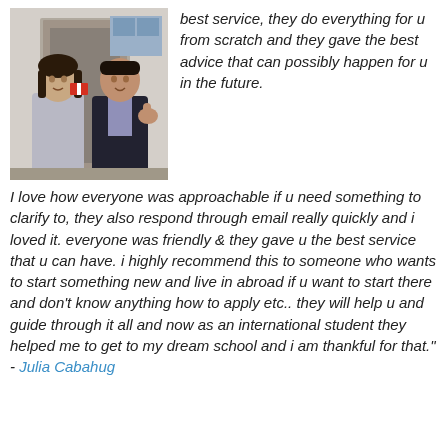[Figure (photo): Two people posing inside a building, one holding a small flag, the other giving a thumbs up.]
best service, they do everything for u from scratch and they gave the best advice that can possibly happen for u in the future.

I love how everyone was approachable if u need something to clarify to, they also respond through email really quickly and i loved it. everyone was friendly & they gave u the best service that u can have. i highly recommend this to someone who wants to start something new and live in abroad if u want to start there and don't know anything how to apply etc.. they will help u and guide through it all and now as an international student they helped me to get to my dream school and i am thankful for that." - Julia Cabahug